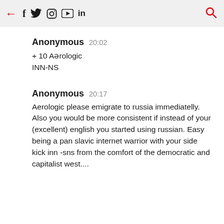← f twitter instagram youtube in 🔍
Anonymous  20:02
+ 10 Aerologic
INN-NS
Anonymous  20:17
Aerologic please emigrate to russia immediatelly. Also you would be more consistent if instead of your (excellent) english you started using russian. Easy being a pan slavic internet warrior with your side kick inn -sns from the comfort of the democratic and capitalist west....